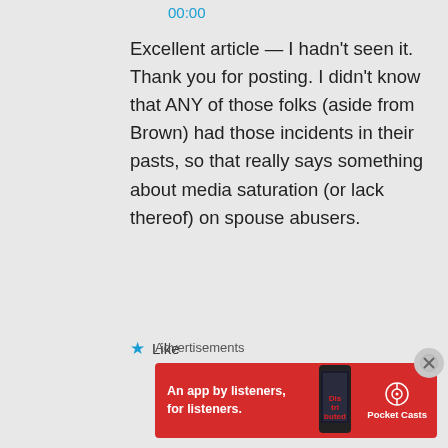00:00
Excellent article — I hadn't seen it. Thank you for posting. I didn't know that ANY of those folks (aside from Brown) had those incidents in their pasts, so that really says something about media saturation (or lack thereof) on spouse abusers.
★ Like
Advertisements
[Figure (photo): Pocket Casts advertisement banner: red background with text 'An app by listeners, for listeners.' and Pocket Casts logo on right, phone image in center showing 'Distributed' podcast app screen.]